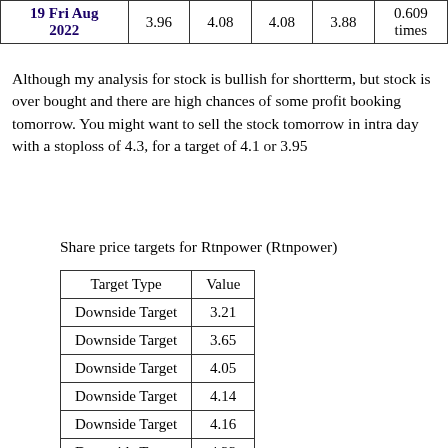|  |  |  |  |  |  |
| --- | --- | --- | --- | --- | --- |
| 19 Fri Aug
2022 | 3.96 | 4.08 | 4.08 | 3.88 | 0.609
times |
Although my analysis for stock is bullish for shortterm, but stock is over bought and there are high chances of some profit booking tomorrow. You might want to sell the stock tomorrow in intra day with a stoploss of 4.3, for a target of 4.1 or 3.95
Share price targets for Rtnpower (Rtnpower)
| Target Type | Value |
| --- | --- |
| Downside Target | 3.21 |
| Downside Target | 3.65 |
| Downside Target | 4.05 |
| Downside Target | 4.14 |
| Downside Target | 4.16 |
| Downside Target | 4.23 |
| Downside Target | 4.36 |
| Upside Target | 4.60 |
| Upside Target | 5.51 |